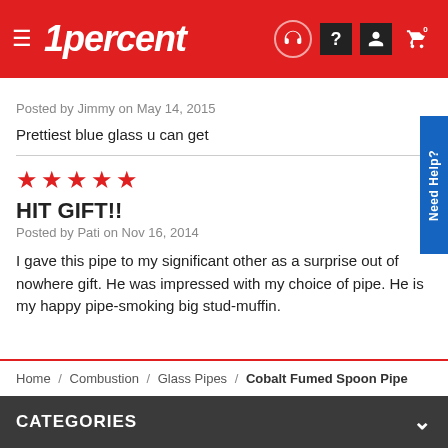1percent — navigation header with hamburger menu and icons
Posted by Jimmy on May 14, 2015
Prettiest blue glass u can get
★★★★★
HIT GIFT!!
Posted by Pati on Nov 16, 2014
I gave this pipe to my significant other as a surprise out of nowhere gift. He was impressed with my choice of pipe. He is my happy pipe-smoking big stud-muffin.
Home / Combustion / Glass Pipes / Cobalt Fumed Spoon Pipe
CATEGORIES